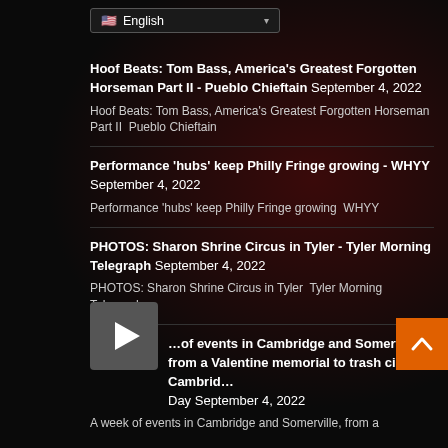English (language selector dropdown)
Hoof Beats: Tom Bass, America's Greatest Forgotten Horseman Part II - Pueblo Chieftain September 4, 2022
Hoof Beats: Tom Bass, America's Greatest Forgotten Horseman Part II  Pueblo Chieftain
Performance ‘hubs’ keep Philly Fringe growing - WHYY September 4, 2022
Performance ‘hubs’ keep Philly Fringe growing  WHYY
PHOTOS: Sharon Shrine Circus in Tyler - Tyler Morning Telegraph September 4, 2022
PHOTOS: Sharon Shrine Circus in Tyler  Tyler Morning Telegraph
A week of events in Cambridge and Somerville, from a Valentine memorial to trash circus - Cambridge Day September 4, 2022
A week of events in Cambridge and Somerville, from a Valentine memorial to trash circus Cambridge Day